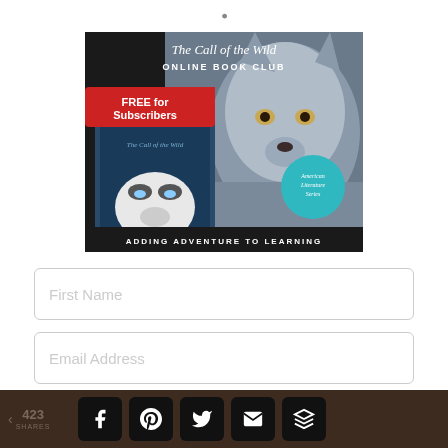[Figure (illustration): The Call of the Wild Online Book Club advertisement banner. Dark background with wolf photo, book cover image. Red badge reads 'FREE for Subscribers'. Teal badge reads 'American Literature Series'. Bottom text: 'ADDING ADVENTURE TO LEARNING'. Top heading: 'The Call of the Wild ONLINE BOOK CLUB'.]
First Name
Email Address
Get My Free Course!
423 SHARES | Facebook | Pinterest | Twitter | Email | Share